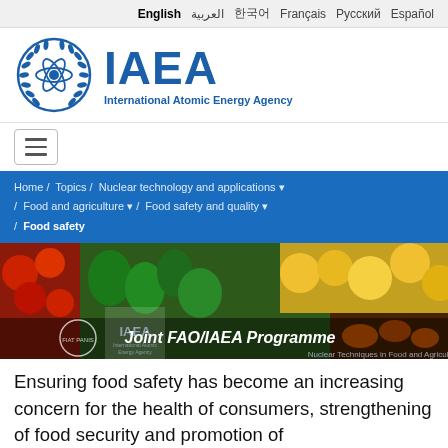English العربية 한국어 Français Русский Español
[Figure (logo): IAEA logo: atomic symbol with laurel wreath in blue, with text 'IAEA' and 'International Atomic Energy Agency']
[Figure (other): Hamburger menu button (three horizontal lines)]
Home / Topics / Nuclear technology and applications ▾ / Food and agriculture ▾ / Food safety and quality ▾ / Food safety
[Figure (photo): Market display of fresh vegetables and fruits including peppers, tomatoes, and other produce. Overlaid with Joint FAO/IAEA Programme branding and 'Nuclear Techniques in Food and Agriculture' text.]
Ensuring food safety has become an increasing concern for the health of consumers, strengthening of food security and promotion of